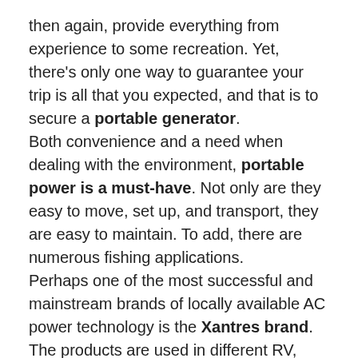then again, provide everything from experience to some recreation. Yet, there's only one way to guarantee your trip is all that you expected, and that is to secure a portable generator.
Both convenience and a need when dealing with the environment, portable power is a must-have. Not only are they easy to move, set up, and transport, they are easy to maintain. To add, there are numerous fishing applications.
Perhaps one of the most successful and mainstream brands of locally available AC power technology is the Xantres brand. The products are used in different RV, marine, military, construction, EMS, transport, work service vehicle, and commercial truck markets. But since products are of a variety, they are still an ideal source of power for fishing.
Xantrex products are smaller, more innovative, and more